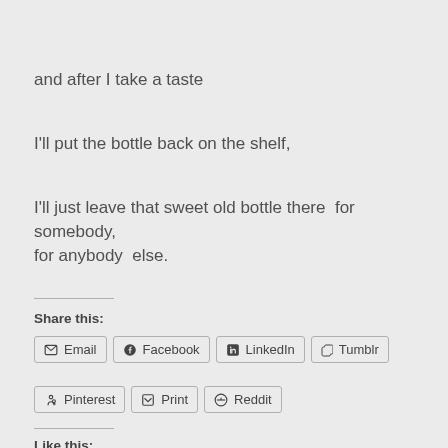and after I take a taste
I'll put the bottle back on the shelf,
I'll just leave that sweet old bottle there  for somebody, for anybody  else.
Share this:
Email
Facebook
LinkedIn
Tumblr
Pinterest
Print
Reddit
Like this: